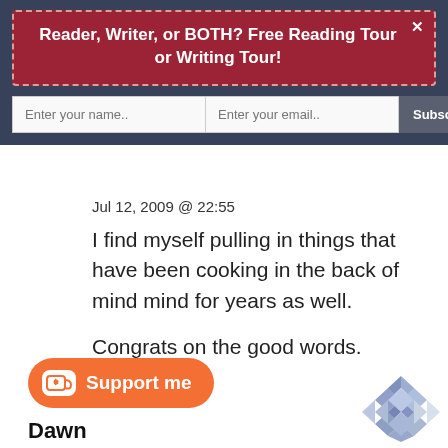Reader, Writer, or BOTH? Free Reading Tour or Writing Tour!
[Figure (screenshot): Email subscription form with name input, email input, and Subscribe Now button on dark blue background]
Jul 12, 2009 @ 22:55
I find myself pulling in things that have been cooking in the back of mind mind for years as well.
Congrats on the good words.
reply   link
[Figure (illustration): Orange Support me button with coffee cup icon]
Dawn